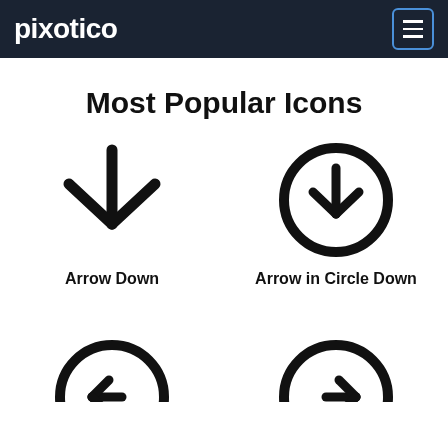pixotico
Most Popular Icons
[Figure (illustration): Arrow Down icon - a downward pointing arrow with a V-chevron shape and vertical stem, thick black lines]
Arrow Down
[Figure (illustration): Arrow in Circle Down icon - a downward pointing arrow enclosed within a thick black circle]
Arrow in Circle Down
[Figure (illustration): Partial view of a circle icon with left arrow (bottom left, cropped)]
[Figure (illustration): Partial view of a circle icon with right arrow (bottom right, cropped)]